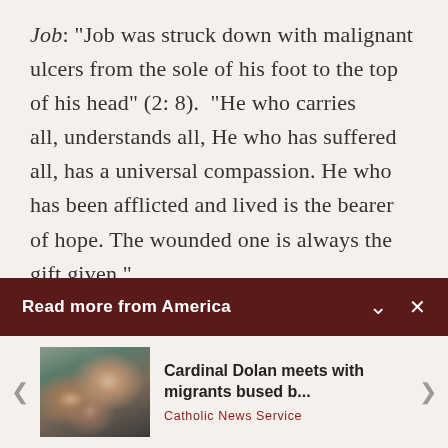Job: "Job was struck down with malignant ulcers from the sole of his foot to the top of his head" (2:8). "He who carries all, understands all, He who has suffered all, has a universal compassion. He who has been afflicted and lived is the bearer of hope. The wounded one is always the gift given."

In the end, God burns with anger at the
Read more from America
[Figure (photo): Press conference photo showing Cardinal Dolan speaking at microphones with several women standing behind him, outdoors.]
Cardinal Dolan meets with migrants bused b...
Catholic News Service